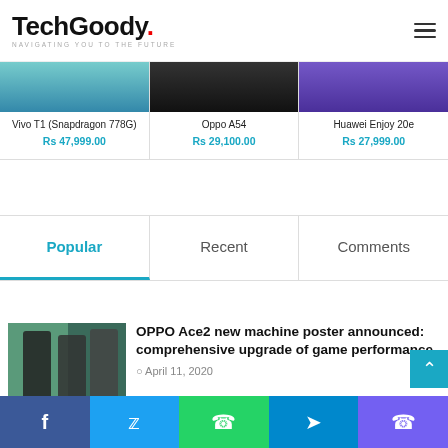TechGoody — NAVIGATING YOU TO THE FUTURE
Vivo T1 (Snapdragon 778G)
Rs 47,999.00
Oppo A54
Rs 29,100.00
Huawei Enjoy 20e
Rs 27,999.00
Popular | Recent | Comments
OPPO Ace2 new machine poster announced: comprehensive upgrade of game performance
April 11, 2020
Oppo Reno Ace Infinity Introduces Revolutionary Air Charging Technology
f   twitter   whatsapp   telegram   viber